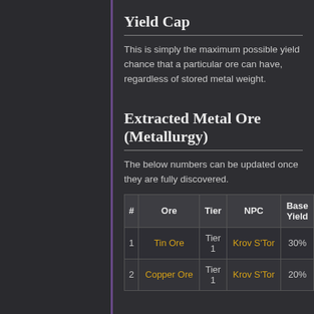Yield Cap
This is simply the maximum possible yield chance that a particular ore can have, regardless of stored metal weight.
Extracted Metal Ore (Metallurgy)
The below numbers can be updated once they are fully discovered.
| # | Ore | Tier | NPC | Base Yield |
| --- | --- | --- | --- | --- |
| 1 | Tin Ore | Tier 1 | Krov S'Tor | 30% |
| 2 | Copper Ore | Tier 1 | Krov S'Tor | 20% |